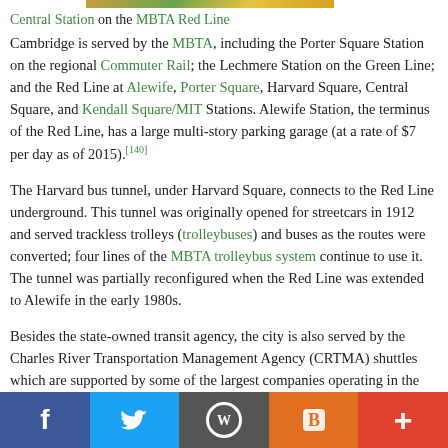[Figure (photo): Partial image of Central Station on MBTA Red Line (cropped, only bottom edge visible)]
Central Station on the MBTA Red Line
Cambridge is served by the MBTA, including the Porter Square Station on the regional Commuter Rail; the Lechmere Station on the Green Line; and the Red Line at Alewife, Porter Square, Harvard Square, Central Square, and Kendall Square/MIT Stations. Alewife Station, the terminus of the Red Line, has a large multi-story parking garage (at a rate of $7 per day as of 2015).[140]
The Harvard bus tunnel, under Harvard Square, connects to the Red Line underground. This tunnel was originally opened for streetcars in 1912 and served trackless trolleys (trolleybuses) and buses as the routes were converted; four lines of the MBTA trolleybus system continue to use it. The tunnel was partially reconfigured when the Red Line was extended to Alewife in the early 1980s.
Besides the state-owned transit agency, the city is also served by the Charles River Transportation Management Agency (CRTMA) shuttles which are supported by some of the largest companies operating in the city, in addition to the municipal government itself.[141]
Cycling[edit]
[Figure (infographic): Social sharing bar with Facebook, Twitter, WordPress, Blogger, and plus icons]